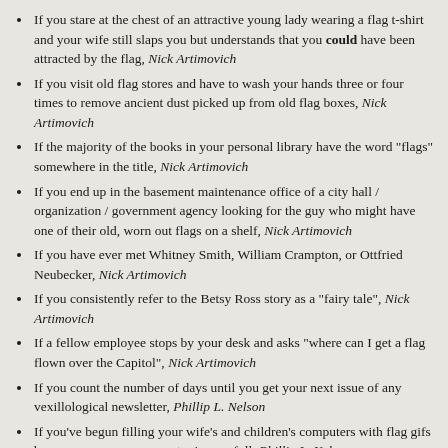If you stare at the chest of an attractive young lady wearing a flag t-shirt and your wife still slaps you but understands that you could have been attracted by the flag, Nick Artimovich
If you visit old flag stores and have to wash your hands three or four times to remove ancient dust picked up from old flag boxes, Nick Artimovich
If the majority of the books in your personal library have the word "flags" somewhere in the title, Nick Artimovich
If you end up in the basement maintenance office of a city hall / organization / government agency looking for the guy who might have one of their old, worn out flags on a shelf, Nick Artimovich
If you have ever met Whitney Smith, William Crampton, or Ottfried Neubecker, Nick Artimovich
If you consistently refer to the Betsy Ross story as a "fairy tale", Nick Artimovich
If a fellow employee stops by your desk and asks "where can I get a flag flown over the Capitol", Nick Artimovich
If you count the number of days until you get your next issue of any vexillological newsletter, Phillip L. Nelson
If you've begun filling your wife's and children's computers with flag gifs because yours own computer is now full, Phillip L. Nelson
If responding to the question "If you were stranded on a desert island, what would you take with you?" and you chose